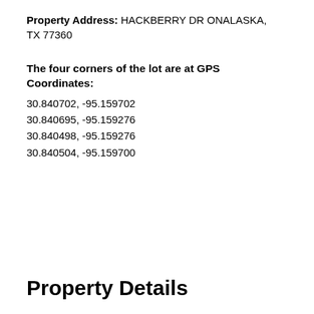Property Address: HACKBERRY DR ONALASKA, TX 77360
The four corners of the lot are at GPS Coordinates:
30.840702, -95.159702
30.840695, -95.159276
30.840498, -95.159276
30.840504, -95.159700
Property Details